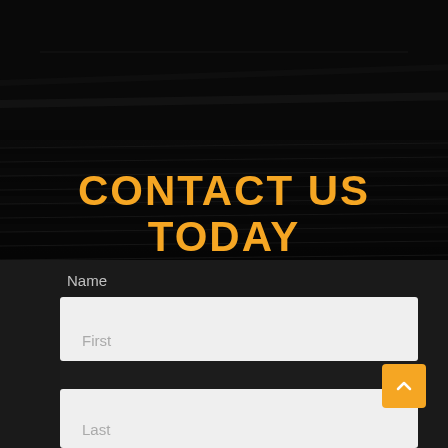[Figure (photo): Dark background showing diagonal venetian blinds or slats, creating a textured dark pattern across the upper portion of the page]
CONTACT US TODAY
Name
First
Last